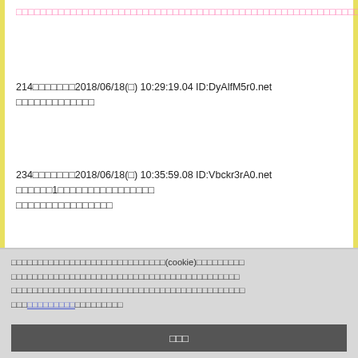□□□□□□□□□□□□□□□□□□□□□□□□□□□□□□□□□□□□□□□□□□□□□□□□□□□□□□□□□□□□□□□□□
214□□□□□□□2018/06/18(□) 10:29:19.04 ID:DyAlfM5r0.net
□□□□□□□□□□□□□
234□□□□□□□2018/06/18(□) 10:35:59.08 ID:Vbckr3rA0.net
□□□□□□1□□□□□□□□□□□□□□□□
□□□□□□□□□□□□□□□□
□□□□□□□□□□□□□□□□□□□□□□□□□□□□□(cookie)□□□□□□□□□
□□□□□□□□□□□□□□□□□□□□□□□□□□□□□□□□□□□□□□□□□□□
□□□□□□□□□□□□□□□□□□□□□□□□□□□□□□□□□□□□□□□□□□□□
□□□□□□□□□□□□□□□□□□
□□□